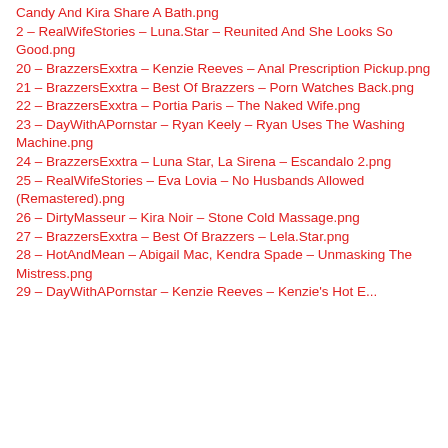Candy And Kira Share A Bath.png
2 – RealWifeStories – Luna.Star – Reunited And She Looks So Good.png
20 – BrazzersExxtra – Kenzie Reeves – Anal Prescription Pickup.png
21 – BrazzersExxtra – Best Of Brazzers – Porn Watches Back.png
22 – BrazzersExxtra – Portia Paris – The Naked Wife.png
23 – DayWithAPornstar – Ryan Keely – Ryan Uses The Washing Machine.png
24 – BrazzersExxtra – Luna Star, La Sirena – Escandalo 2.png
25 – RealWifeStories – Eva Lovia – No Husbands Allowed (Remastered).png
26 – DirtyMasseur – Kira Noir – Stone Cold Massage.png
27 – BrazzersExxtra – Best Of Brazzers – Lela.Star.png
28 – HotAndMean – Abigail Mac, Kendra Spade – Unmasking The Mistress.png
29 – DayWithAPornstar – Kenzie Reeves – Kenzie's Hot E...